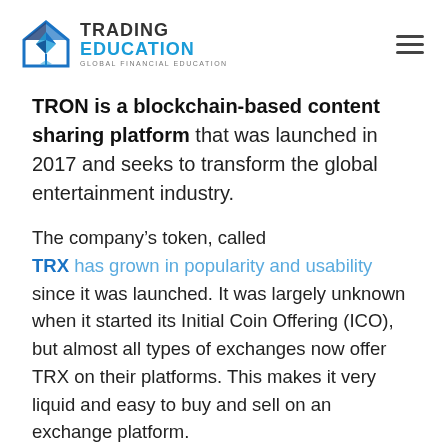TRADING EDUCATION — GLOBAL FINANCIAL EDUCATION
TRON is a blockchain-based content sharing platform that was launched in 2017 and seeks to transform the global entertainment industry.
The company's token, called TRX has grown in popularity and usability since it was launched. It was largely unknown when it started its Initial Coin Offering (ICO), but almost all types of exchanges now offer TRX on their platforms. This makes it very liquid and easy to buy and sell on an exchange platform.